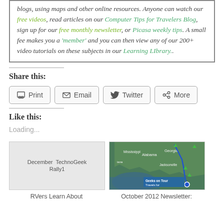blogs, using maps and other online resources. Anyone can watch our free videos, read articles on our Computer Tips for Travelers Blog, sign up for our free monthly newsletter, or Picasa weekly tips. A small fee makes you a 'member' and you can then view any of our 200+ video tutorials on these subjects in our Learning LIbrary..
Share this:
Print | Email | Twitter | More
Like this:
Loading...
[Figure (other): Broken image placeholder for December TechnoGeek Rally1]
RVers Learn About
[Figure (map): Map showing southeastern United States with route markers, labeled 'Geeks on Tour Travels for']
October 2012 Newsletter: